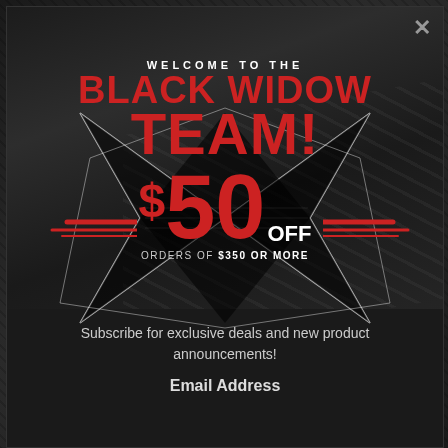[Figure (infographic): Promotional popup modal for Black Widow brand. Dark background showing a vehicle/ramp. Star burst graphic overlaid with promotional text.]
WELCOME TO THE BLACK WIDOW TEAM!
$50 OFF ORDERS OF $350 OR MORE
Subscribe for exclusive deals and new product announcements!
Email Address